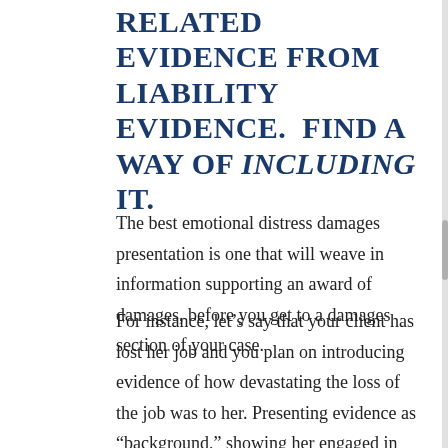RELATED EVIDENCE FROM LIABILITY EVIDENCE. FIND A WAY OF INCLUDING IT.
The best emotional distress damages presentation is one that will weave in information supporting an award of damages, before you get to a damages section of your case.
For instance, let’s say that your client has lost her job and you plan on introducing evidence of how devastating the loss of the job was to her. Presenting evidence as “background,” showing her engaged in teamwork with coworkers, and how that made her client’s life richer,